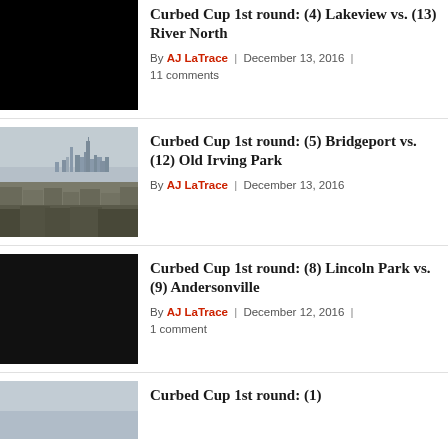[Figure (photo): Black thumbnail image for Lakeview vs River North article]
Curbed Cup 1st round: (4) Lakeview vs. (13) River North
By AJ LaTrace | December 13, 2016 | 11 comments
[Figure (photo): Aerial photo of Chicago skyline with residential rooftops in foreground]
Curbed Cup 1st round: (5) Bridgeport vs. (12) Old Irving Park
By AJ LaTrace | December 13, 2016
[Figure (photo): Black thumbnail image for Lincoln Park vs Andersonville article]
Curbed Cup 1st round: (8) Lincoln Park vs. (9) Andersonville
By AJ LaTrace | December 12, 2016 | 1 comment
[Figure (photo): Partial light blue-gray thumbnail image for fourth article]
Curbed Cup 1st round: (1)